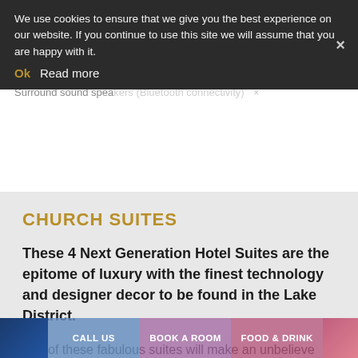We use cookies to ensure that we give you the best experience on our website. If you continue to use this site we will assume that you are happy with it.
Ok  Read more
Surround sound speakers (Bluetooth connectivity)
CHURCH SUITES
These 4 Next Generation Hotel Suites are the epitome of luxury with the finest technology and designer decor to be found in the Lake District.
Any of these fabulous suites will make an unbelieve stay for any couple, we'll let you guys do the rest ?
CALL US  BOOK A ROOM  FOOD & DRINK